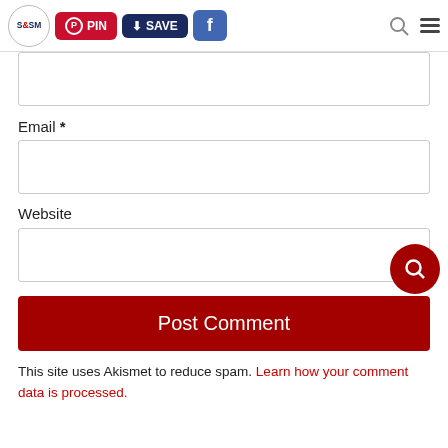[Figure (screenshot): Website navigation header bar with S&SM logo, red PIN button, dark blue SAVE button, blue Facebook button, search icon, and hamburger menu icon]
Email *
[Figure (screenshot): Empty email text input field]
Website
[Figure (screenshot): Empty website text input field with red circular search icon overlaid at bottom right]
Post Comment
This site uses Akismet to reduce spam. Learn how your comment data is processed.